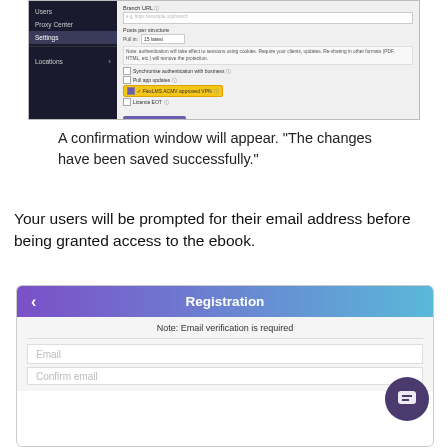[Figure (screenshot): Screenshot of a settings panel with sidebar navigation showing items like Users, Proxy Center, Settings, Locations, and a main configuration panel with fields for Branch URL, Posts per structure, sync checkboxes including a highlighted FREADMACADMY checkbox, and a Save Changes button.]
A confirmation window will appear. "The changes have been saved successfully."
Your users will be prompted for their email address before being granted access to the ebook.
[Figure (screenshot): Screenshot of a Registration form UI with a purple-to-blue gradient header bar showing a back arrow and 'Registration' title, followed by a white form area with 'Note: Email verification is required', an Email input field, and a Confirm email input field. A dark chat bubble icon appears in the bottom right.]